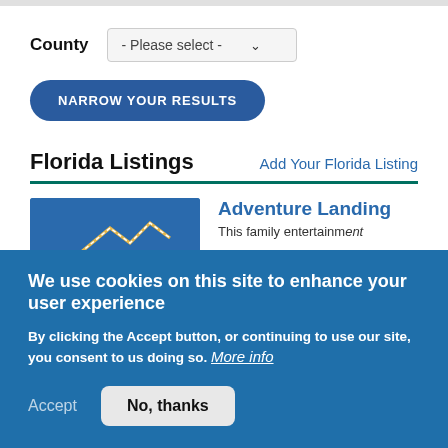County  - Please select -
NARROW YOUR RESULTS
Florida Listings
Add Your Florida Listing
Adventure Landing
This family entertainment
We use cookies on this site to enhance your user experience
By clicking the Accept button, or continuing to use our site, you consent to us doing so. More info
Accept
No, thanks